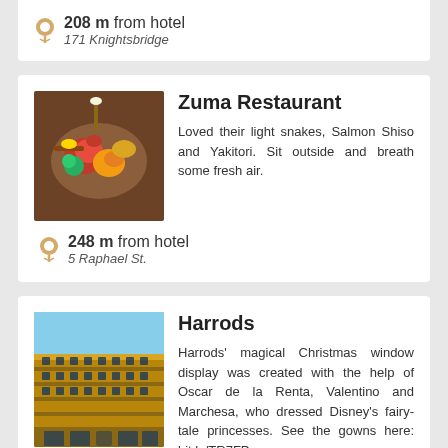208 m from hotel
171 Knightsbridge
Zuma Restaurant
Loved their light snakes, Salmon Shiso and Yakitori. Sit outside and breath some fresh air.
248 m from hotel
5 Raphael St.
Harrods
Harrods' magical Christmas window display was created with the help of Oscar de la Renta, Valentino and Marchesa, who dressed Disney's fairy-tale princesses. See the gowns here: bit.ly/TR7FPp
336 m from hotel